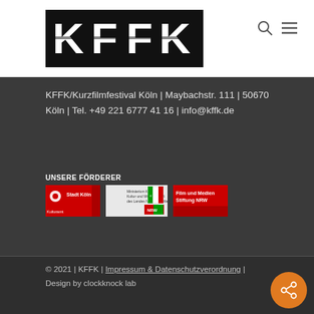[Figure (logo): KFFK logo - white text on black background showing stylized letters K F F K]
[Figure (illustration): Search icon (magnifying glass) and hamburger menu icon in top right header]
KFFK/Kurzfilmfestival Köln | Maybachstr. 111 | 50670 Köln | Tel. +49 221 6777 41 16 | info@kffk.de
UNSERE FÖRDERER
[Figure (logo): Three sponsor logos: Stadt Köln Kulturamt (red/white), Ministerium für Kultur und Wissenschaft des Landes Nordrhein-Westfalen (red/white/NRW coat of arms), Film und Medien Stiftung NRW (red/white)]
© 2021 | KFFK | Impressum & Datenschutzverordnung | Design by clockknock lab